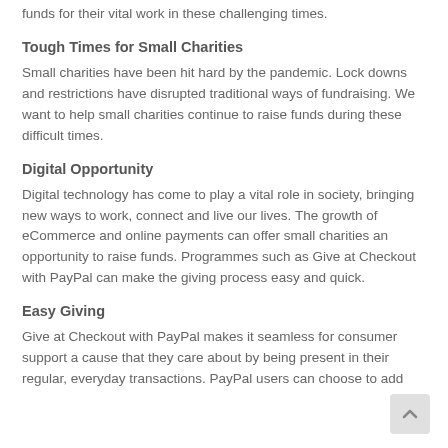funds for their vital work in these challenging times.
Tough Times for Small Charities
Small charities have been hit hard by the pandemic. Lock downs and restrictions have disrupted traditional ways of fundraising. We want to help small charities continue to raise funds during these difficult times.
Digital Opportunity
Digital technology has come to play a vital role in society, bringing new ways to work, connect and live our lives. The growth of eCommerce and online payments can offer small charities an opportunity to raise funds. Programmes such as Give at Checkout with PayPal can make the giving process easy and quick.
Easy Giving
Give at Checkout with PayPal makes it seamless for consumers support a cause that they care about by being present in their regular, everyday transactions. PayPal users can choose to add